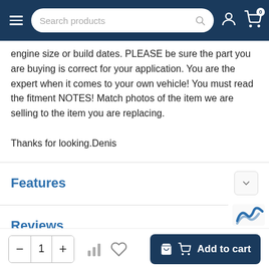Search products
engine size or build dates. PLEASE be sure the part you are buying is correct for your application. You are the expert when it comes to your own vehicle! You must read the fitment NOTES! Match photos of the item we are selling to the item you are replacing.
Thanks for looking.Denis
Features
Reviews